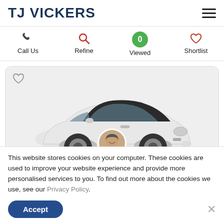TJ VICKERS
[Figure (screenshot): Hamburger menu icon (three horizontal lines)]
[Figure (screenshot): Navigation bar with Call Us (phone icon), Refine (search icon, red), Viewed (green badge showing 0), Shortlist (heart icon, red)]
[Figure (photo): White Fiat 500 electric car with black roof, overlaid with a circular avatar of a smiling male salesperson]
This website stores cookies on your computer. These cookies are used to improve your website experience and provide more personalised services to you. To find out more about the cookies we use, see our Privacy Policy.
Accept